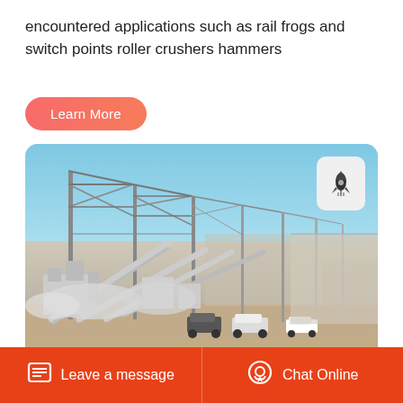encountered applications such as rail frogs and switch points roller crushers hammers
Learn More
[Figure (photo): Industrial construction site showing large steel frame structures with conveyor belts and heavy machinery, cars parked in the foreground, clear blue sky background, sandy ground]
Leave a message
Chat Online